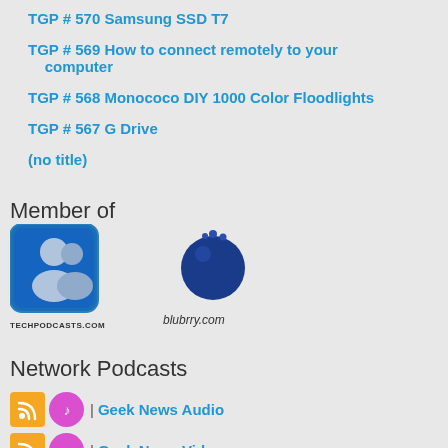TGP # 570 Samsung SSD T7
TGP # 569 How to connect remotely to your computer
TGP # 568 Monococo DIY 1000 Color Floodlights
TGP # 567 G Drive
(no title)
Member of
[Figure (logo): TechPodcasts.com logo with person icon in blue square and text TECHPODCASTS.COM below]
[Figure (logo): Blubrry.com logo with blue berry icon and text blubrry.com below]
Network Podcasts
| Geek News Audio
| Geek News Video